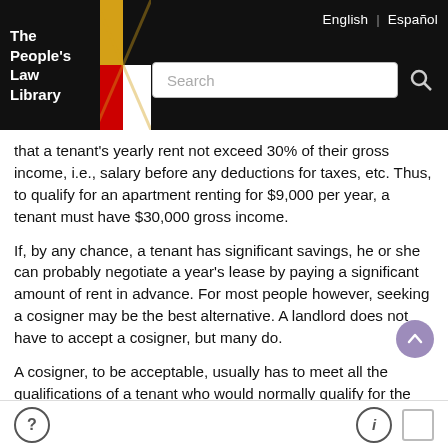The People's Law Library | English | Español
that a tenant's yearly rent not exceed 30% of their gross income, i.e., salary before any deductions for taxes, etc. Thus, to qualify for an apartment renting for $9,000 per year, a tenant must have $30,000 gross income.
If, by any chance, a tenant has significant savings, he or she can probably negotiate a year's lease by paying a significant amount of rent in advance. For most people however, seeking a cosigner may be the best alternative. A landlord does not have to accept a cosigner, but many do.
A cosigner, to be acceptable, usually has to meet all the qualifications of a tenant who would normally qualify for the apartment: good credit and employment record and sufficient income. It helps to have a cosigner who lives in Maryland, though some landlords will accept cosigners who live out of state.
Cosigning a lease is a serious responsibility that should not be taken lightly. Tenants seeking a cosigner should not